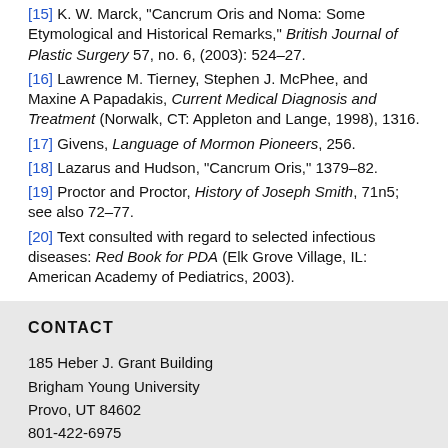[15] K. W. Marck, "Cancrum Oris and Noma: Some Etymological and Historical Remarks," British Journal of Plastic Surgery 57, no. 6, (2003): 524–27.
[16] Lawrence M. Tierney, Stephen J. McPhee, and Maxine A Papadakis, Current Medical Diagnosis and Treatment (Norwalk, CT: Appleton and Lange, 1998), 1316.
[17] Givens, Language of Mormon Pioneers, 256.
[18] Lazarus and Hudson, "Cancrum Oris," 1379–82.
[19] Proctor and Proctor, History of Joseph Smith, 71n5; see also 72–77.
[20] Text consulted with regard to selected infectious diseases: Red Book for PDA (Elk Grove Village, IL: American Academy of Pediatrics, 2003).
CONTACT
185 Heber J. Grant Building
Brigham Young University
Provo, UT 84602
801-422-6975